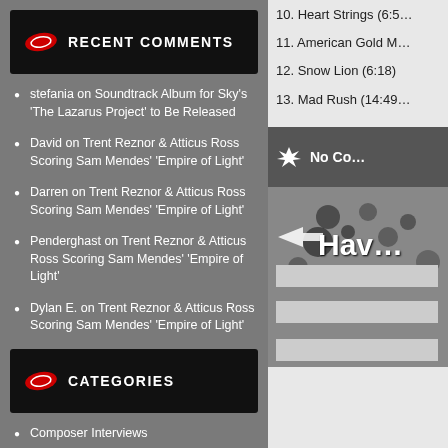RECENT COMMENTS
stefania on Soundtrack Album for Sky's 'The Lazarus Project' to Be Released
David on Trent Reznor & Atticus Ross Scoring Sam Mendes' 'Empire of Light'
Darren on Trent Reznor & Atticus Ross Scoring Sam Mendes' 'Empire of Light'
Penderghast on Trent Reznor & Atticus Ross Scoring Sam Mendes' 'Empire of Light'
Dylan E. on Trent Reznor & Atticus Ross Scoring Sam Mendes' 'Empire of Light'
CATEGORIES
Composer Interviews
Film Music Albums
Film Music Events
Film Music News
Film Scoring Assignments
Television Music Albums
TV Music Al...
10. Heart Strings (6:5...
11. American Gold M...
12. Snow Lion (6:18)
13. Mad Rush (14:49...
No Co...
[Figure (illustration): Dark splatter background with arrow icon and 'Hav' text with three input boxes below]